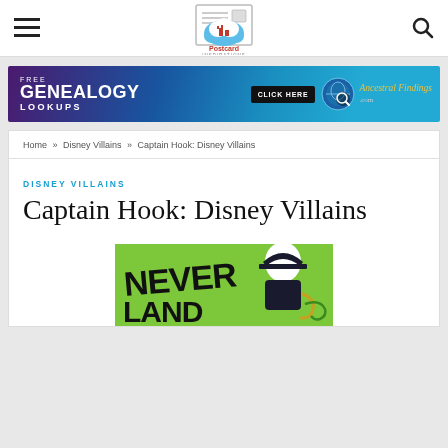Postcard Inspirations - navigation header with hamburger menu and search icon
[Figure (illustration): Postcard Inspirations logo - postcard with cloud and castle illustration]
[Figure (screenshot): Advertisement banner: FREE GENEALOGY LOOKUPS - CLICK HERE - AncestralFindings.com with magnifying glass globe icon]
Home » Disney Villains » Captain Hook: Disney Villains
DISNEY VILLAINS
Captain Hook: Disney Villains
[Figure (illustration): Green illustrated image showing Captain Hook character with 'NEVER LAND' text in large black letters on green background]